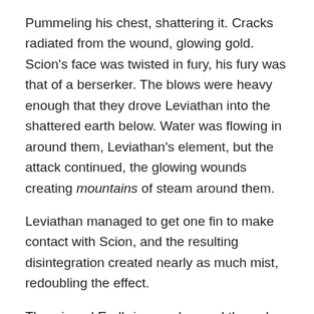Pummeling his chest, shattering it.  Cracks radiated from the wound, glowing gold.  Scion's face was twisted in fury, his fury was that of a berserker.  The blows were heavy enough that they drove Leviathan into the shattered earth below.  Water was flowing in around them, Leviathan's element, but the attack continued, the glowing wounds creating mountains of steam around them.
Leviathan managed to get one fin to make contact with Scion, and the resulting disintegration created nearly as much mist, redoubling the effect.
The winged Endbringer advanced through the steam and golden-crimson mist, moving the one gun she still carried through the air until it was aimed at the two.
She fired, and it blasted a gust of wind at them, strong